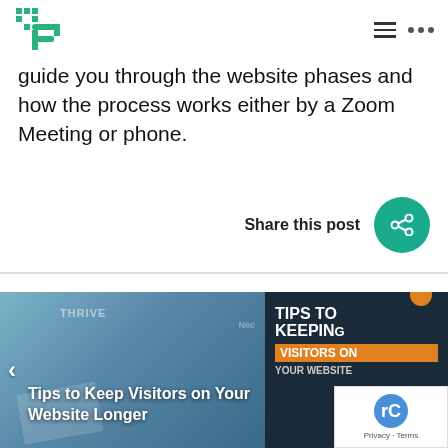PixelPlex logo with navigation hamburger menu and dots
guide you through the website phases and how the process works either by a Zoom Meeting or phone.
Share this post
[Figure (screenshot): Tips to Keep Visitors on Your Website Longer - blog post preview card with left photo of hands on tablet and right dark panel with bold text TIPS TO KEEPING VISITORS ON YOUR WEBSITE in orange and white]
[Figure (logo): reCAPTCHA badge with circular logo]